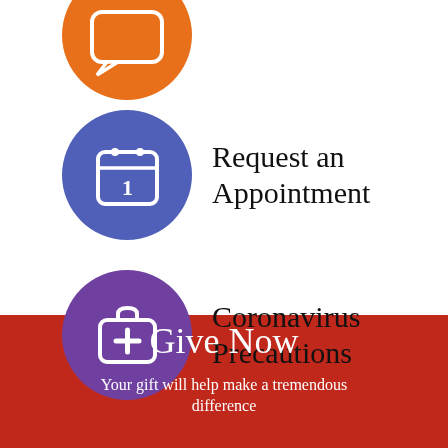[Figure (illustration): Orange circle icon with speech bubble, partially cropped at top of page]
Request an Appointment
Coronavirus Precautions
Give Now
Your gift will help make a tremendous difference